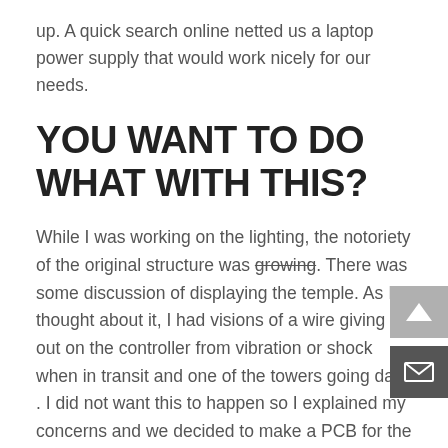up.  A quick search online netted us a laptop power supply that would work nicely for our needs.
YOU WANT TO DO WHAT WITH THIS?
While I was working on the lighting, the notoriety of the original structure was growing.  There was some discussion of displaying the temple.  As I thought about it, I had visions of a wire giving out on the controller from vibration or shock when in transit and one of the towers going dark .  I did not want this to happen so I explained my concerns and we decided to make a PCB for the lighting controller so that we could have a controller that wouldn't keep us up at night.  This became even more important when a second temple was